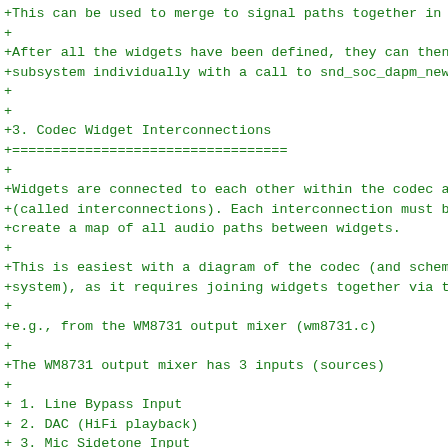+This can be used to merge to signal paths together in softwa
+
+After all the widgets have been defined, they can then be ad
+subsystem individually with a call to snd_soc_dapm_new_contr
+
+
+3. Codec Widget Interconnections
+==================================
+
+Widgets are connected to each other within the codec and mac
+(called interconnections). Each interconnection must be defi
+create a map of all audio paths between widgets.
+
+This is easiest with a diagram of the codec (and schematic o
+system), as it requires joining widgets together via their a
+
+e.g., from the WM8731 output mixer (wm8731.c)
+
+The WM8731 output mixer has 3 inputs (sources)
+
+ 1. Line Bypass Input
+ 2. DAC (HiFi playback)
+ 3. Mic Sidetone Input
+
+Each input in this example has a kcontrol associated with it